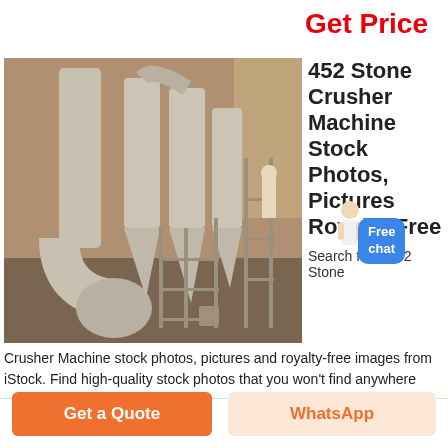Get Price
[Figure (photo): Industrial stone crusher machine with large white cyclone dust collectors and piping inside a factory/warehouse building]
452 Stone Crusher Machine Stock Photos, Pictures Royalty-Free
Search from 452 Stone Crusher Machine stock photos, pictures and royalty-free images from iStock. Find high-quality stock photos that you won't find anywhere
Get a Quote
WhatsApp